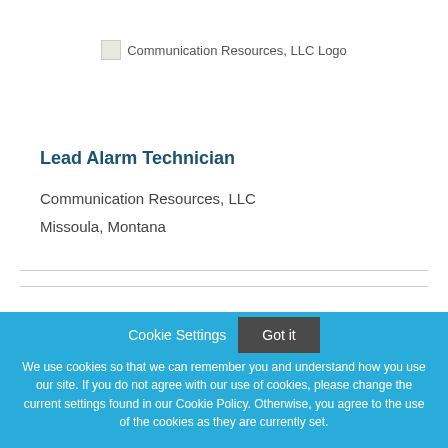[Figure (logo): Communication Resources, LLC Logo placeholder image with broken image icon]
Lead Alarm Technician
Communication Resources, LLC
Missoula, Montana
[Figure (other): Document icon partially visible]
Cookie Settings
Got it
We use cookies so that we can remember you and understand how you use our site. If you do not agree with our use of cookies, please change the current settings found in our Cookie Policy. Otherwise, you agree to the use of the cookies as they are currently set.